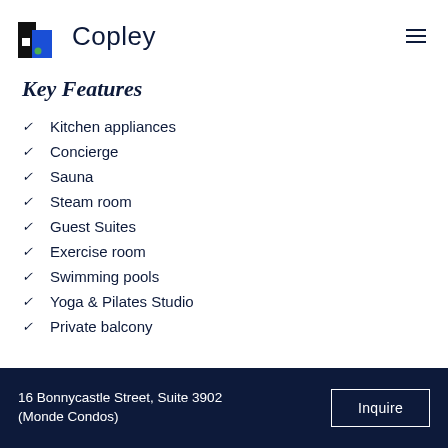[Figure (logo): Copley brand logo with stylized building icon in black, blue, and green, followed by the word 'Copley' in large dark serif font]
Key Features
Kitchen appliances
Concierge
Sauna
Steam room
Guest Suites
Exercise room
Swimming pools
Yoga & Pilates Studio
Private balcony
16 Bonnycastle Street, Suite 3902 (Monde Condos)   Inquire